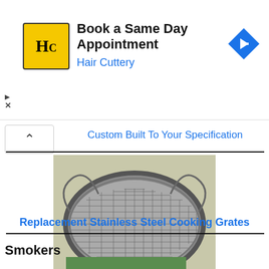[Figure (other): Hair Cuttery advertisement banner with yellow HC logo, text 'Book a Same Day Appointment / Hair Cuttery', and a blue diamond navigation arrow icon]
Custom Built To Your Specification
[Figure (photo): Circular stainless steel cooking grate/mesh with wire handles, viewed from above on a light background]
Replacement Stainless Steel Cooking Grates
Smokers
[Figure (photo): Partial photo of smoker equipment outdoors with green foliage background]